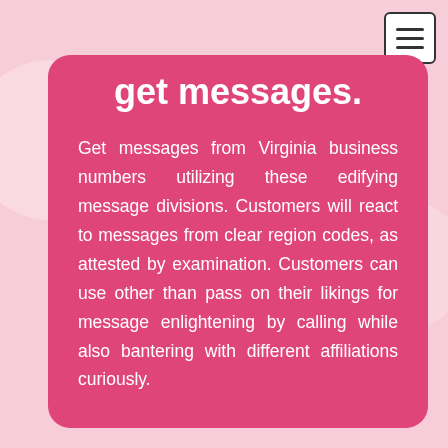[Figure (other): Hamburger menu icon button in top-right corner with three horizontal lines]
get messages.
Get messages from Virginia business numbers utilizing these edifying message divisions. Customers will react to messages from clear region codes, as attested by examination. Customers can use other than pass on their likings for message enlightening by calling while also bantering with different affiliations curiously.